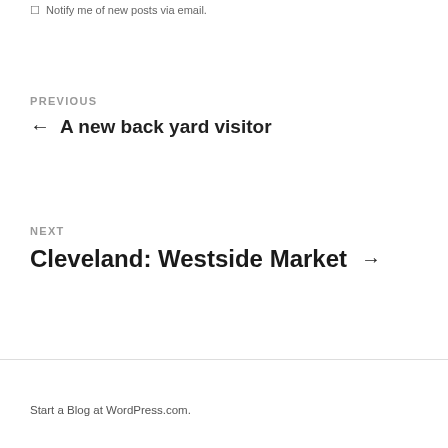Notify me of new posts via email.
PREVIOUS
← A new back yard visitor
NEXT
Cleveland: Westside Market →
Start a Blog at WordPress.com.